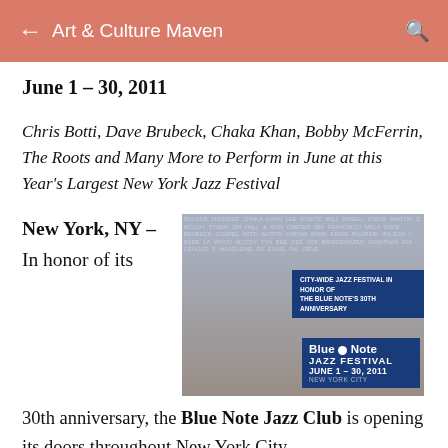← Art & Culture Maven
June 1 – 30, 2011
Chris Botti, Dave Brubeck, Chaka Khan, Bobby McFerrin, The Roots and Many More to Perform in June at this Year's Largest New York Jazz Festival
[Figure (photo): Blue Note Jazz Festival promotional image featuring multiple musicians/artists posing together, with the festival logo, dates June 1-30, 2011, and text 'City-Wide Jazz Festival in Honor of The Blue Note's 30th Anniversary']
New York, NY – In honor of its 30th anniversary, the Blue Note Jazz Club is opening its doors throughout New York City